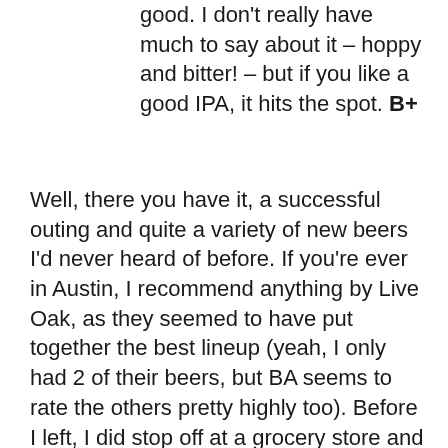good. I don't really have much to say about it – hoppy and bitter! – but if you like a good IPA, it hits the spot. B+
Well, there you have it, a successful outing and quite a variety of new beers I'd never heard of before. If you're ever in Austin, I recommend anything by Live Oak, as they seemed to have put together the best lineup (yeah, I only had 2 of their beers, but BA seems to rate the others pretty highly too). Before I left, I did stop off at a grocery store and picked up a big beer to bring home: Jester King's Wytchmaker Rye IPA in a fancy 750 ml bottle. Look for a review… uh, in the next month or so! Overall, I'm pretty jealous of Austinites. Not only do they have the best movie theater I've ever been too, but they